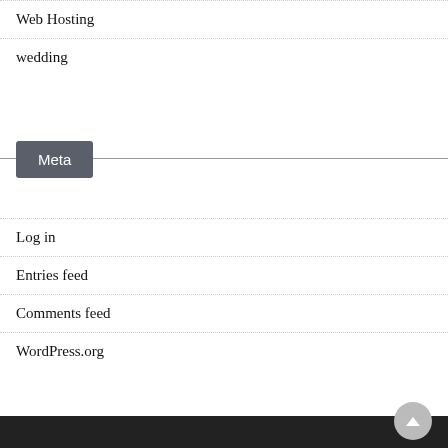Web Hosting
wedding
Meta
Log in
Entries feed
Comments feed
WordPress.org